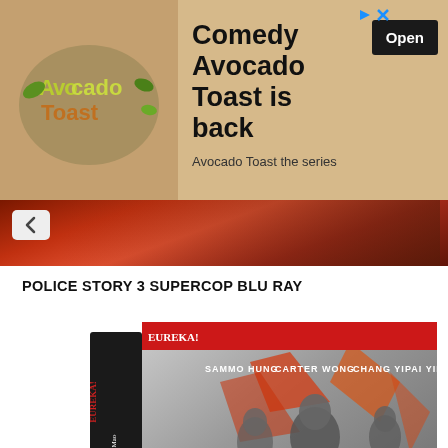[Figure (screenshot): Advertisement banner for Comedy Avocado Toast the series, with logo on left, title text and Open button on right]
[Figure (photo): Navigation strip with back chevron arrow and background image showing action scene]
POLICE STORY 3 SUPERCOP BLU RAY
[Figure (photo): Blu-ray box set product image showing Angela Mao martial arts film with actors Sammo Hung, Carter Wong, Chang Yi, Pai Ying listed at top. Black and white cover art with orange/red graphic elements.]